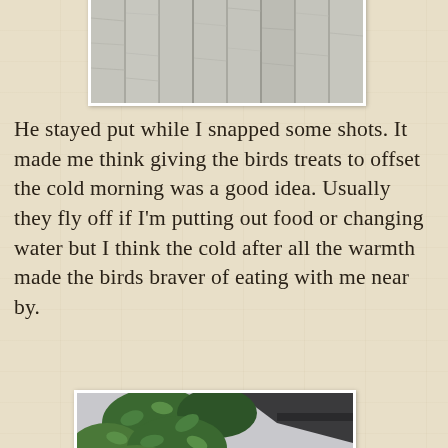[Figure (photo): Partial photo of a wooden fence or wall with light grey weathered wood planks, cropped at top of page]
He stayed put while I snapped some shots. It made me think giving the birds treats to offset the cold morning was a good idea. Usually they fly off if I'm putting out food or changing water but I think the cold after all the warmth made the birds braver of eating with me near by.
[Figure (photo): Close-up photo of a red cardinal bird perched among green leafy branches, with grey sky background]